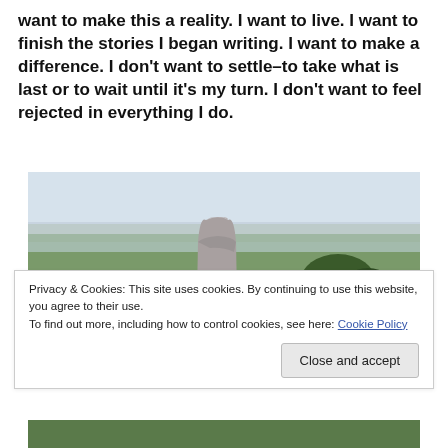want to make this a reality. I want to live. I want to finish the stories I began writing. I want to make a difference. I don't want to settle–to take what is last or to wait until it's my turn. I don't want to feel rejected in everything I do.
[Figure (photo): A large standing stone on a hilltop with a panoramic view of a green countryside valley and hazy horizon below a pale sky.]
Privacy & Cookies: This site uses cookies. By continuing to use this website, you agree to their use.
To find out more, including how to control cookies, see here: Cookie Policy
Close and accept